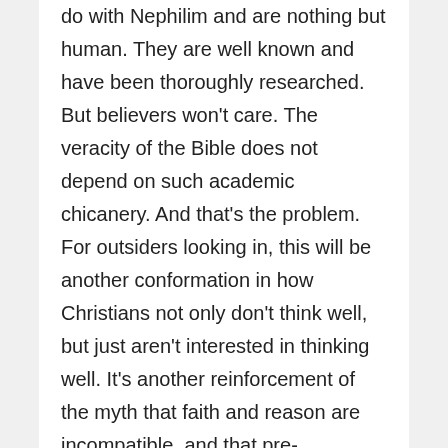do with Nephilim and are nothing but human. They are well known and have been thoroughly researched. But believers won't care. The veracity of the Bible does not depend on such academic chicanery. And that's the problem. For outsiders looking in, this will be another conformation in how Christians not only don't think well, but just aren't interested in thinking well. It's another reinforcement of the myth that faith and reason are incompatible, and that pre-determined conclusions can be considered honest when it comes to the Bible. Sorry, but the ends don't justify the means when it comes to presenting Scripture and representing Jesus.
If you'd like to learn more about Jesus Scholar...